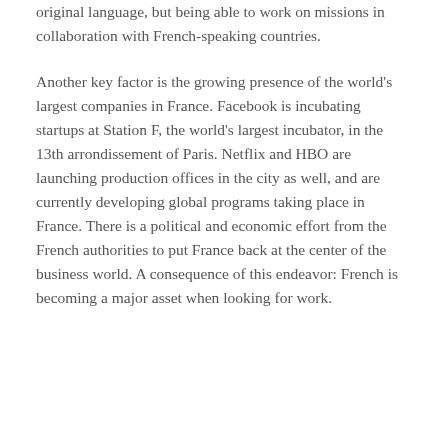original language, but being able to work on missions in collaboration with French-speaking countries.
Another key factor is the growing presence of the world's largest companies in France. Facebook is incubating startups at Station F, the world's largest incubator, in the 13th arrondissement of Paris. Netflix and HBO are launching production offices in the city as well, and are currently developing global programs taking place in France. There is a political and economic effort from the French authorities to put France back at the center of the business world. A consequence of this endeavor: French is becoming a major asset when looking for work.